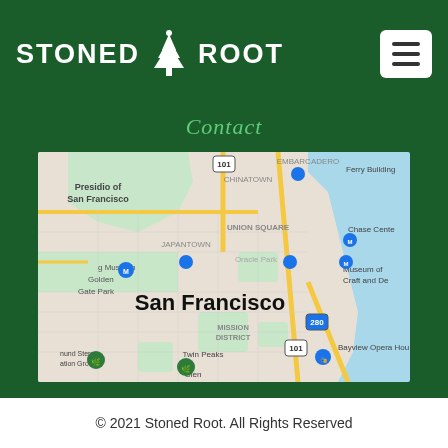STONED ROOT
Contact
[Figure (map): Google Maps view of San Francisco showing neighborhoods including Presidio of San Francisco, Japantown, Union Square, Mission District, Twin Peaks, Glen Canyon Park, Chinatown, Ferry Building, Oracle Park, Chase Center, Museum of Craft and Design, Bayview Opera House. Major roads 101 and 280 visible.]
© 2021 Stoned Root. All Rights Reserved